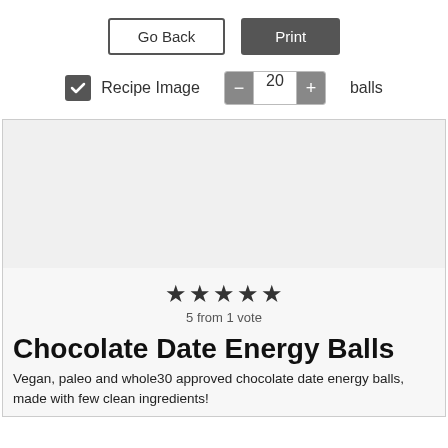[Figure (screenshot): UI controls: Go Back button (outlined) and Print button (dark filled)]
[Figure (screenshot): UI controls: checkbox labeled Recipe Image (checked), quantity selector showing 20, and label 'balls']
[Figure (screenshot): Recipe card with blank image placeholder, 5 star rating, '5 from 1 vote' text, title 'Chocolate Date Energy Balls', and description text]
Chocolate Date Energy Balls
Vegan, paleo and whole30 approved chocolate date energy balls, made with few clean ingredients!